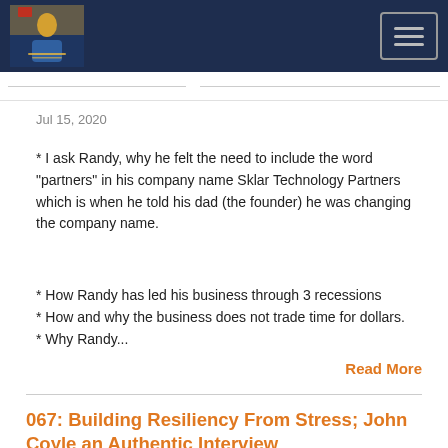The Authentic Leader Show navigation header
Jul 15, 2020
* I ask Randy, why he felt the need to include the word "partners" in his company name Sklar Technology Partners which is when he told his dad (the founder) he was changing the company name.
* How Randy has led his business through 3 recessions
* How and why the business does not trade time for dollars.
* Why Randy...
Read More
067: Building Resiliency From Stress; John Coyle an Authentic Interview
THE AUTHENTIC LEADER SHOW — 067: Building Resiliency From Stress; John Co...